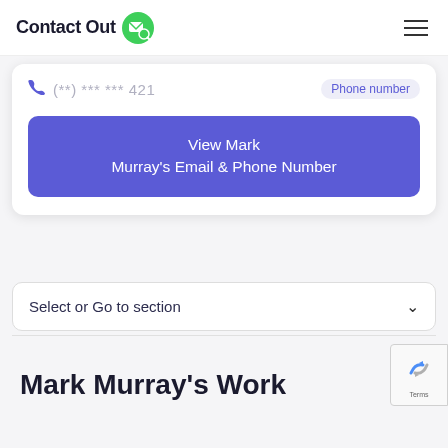[Figure (logo): ContactOut logo with envelope icon and magnifier, green circle]
(**) *** *** 421  Phone number
View Mark Murray's Email & Phone Number
Select or Go to section
Mark Murray's Work